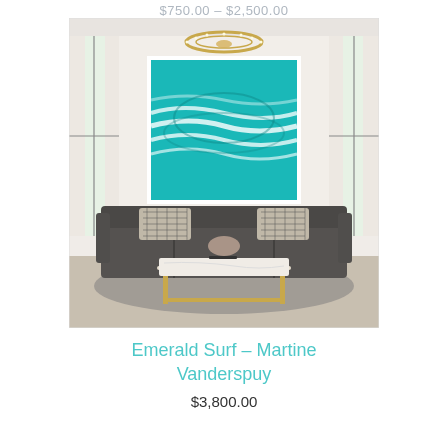$750.00 – $2,500.00
[Figure (photo): A living room interior with a large teal/turquoise abstract ocean wave painting framed in white, hung on a white wall. A gold circular chandelier hangs from the ceiling. Below the painting sits a large dark grey sectional sofa with geometric patterned throw pillows. A white marble coffee table with gold legs sits in front of the sofa. Tall windows with white curtains flank both sides. A grey area rug covers the floor.]
Emerald Surf – Martine Vanderspuy
$3,800.00